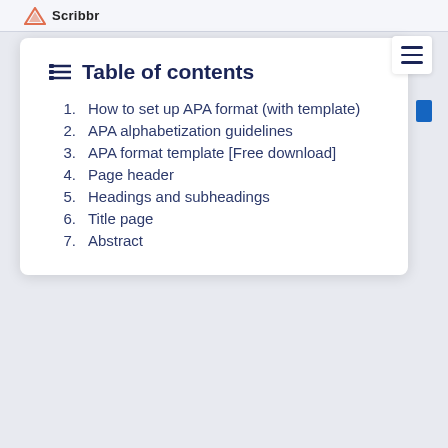Scribbr
Table of contents
1. How to set up APA format (with template)
2. APA alphabetization guidelines
3. APA format template [Free download]
4. Page header
5. Headings and subheadings
6. Title page
7. Abstract